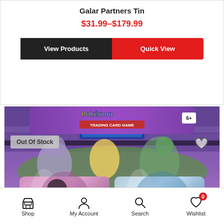Galar Partners Tin
$31.99–$179.99
View Products
Quick View
[Figure (photo): Pokemon Trading Card Game Galar Partners Tin product box showing two metallic tins with Pokemon artwork, stadium battle scene at top, Out Of Stock badge visible, heart/wishlist icon in top right corner]
Out Of Stock
Shop  My Account  Search  Wishlist (0)